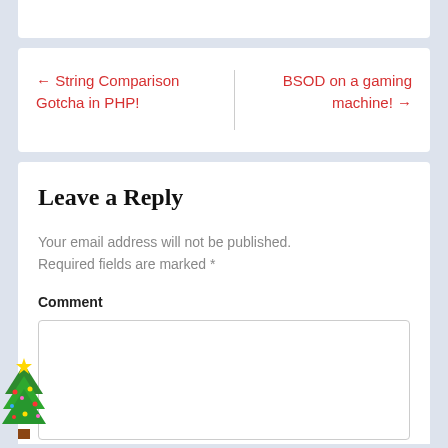← String Comparison Gotcha in PHP!
BSOD on a gaming machine! →
Leave a Reply
Your email address will not be published. Required fields are marked *
Comment
[Figure (illustration): Pixel art Christmas tree decoration in the bottom-left corner]